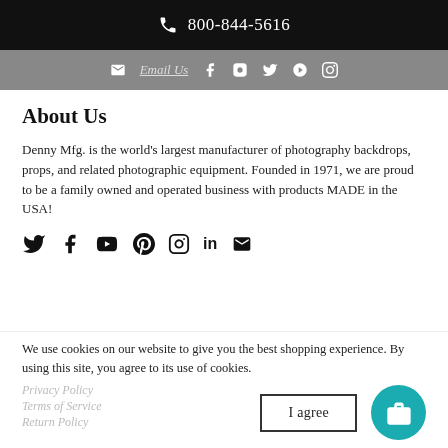800-844-5616
Email Us
About Us
Denny Mfg. is the world's largest manufacturer of photography backdrops, props, and related photographic equipment. Founded in 1971, we are proud to be a family owned and operated business with products MADE in the USA!
[Figure (infographic): Social media icons: Twitter, Facebook, YouTube, Pinterest, Instagram, LinkedIn, Email]
We use cookies on our website to give you the best shopping experience. By using this site, you agree to its use of cookies.
Privacy Policy
Terms of Service
Return Policy